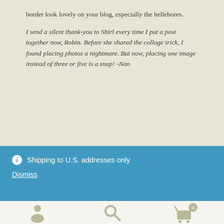border look lovely on your blog, especially the hellebores.
I send a silent thank-you to Shirl every time I put a post together now, Robin. Before she shared the collage trick, I found placing photos a nightmare. But now, placing one image instead of three or five is a snap! -Nan
ⓘ Shipping to U.S. addresses only
Dismiss
[Figure (infographic): Footer bar with three icons: person/user icon, search/magnifying glass icon, and shopping cart icon with badge showing 0]